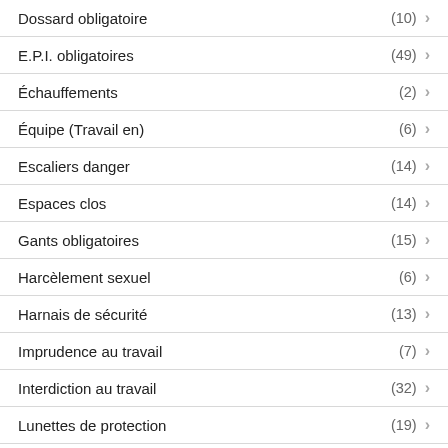Dossard obligatoire (10)
E.P.I. obligatoires (49)
Échauffements (2)
Équipe (Travail en) (6)
Escaliers danger (14)
Espaces clos (14)
Gants obligatoires (15)
Harcèlement sexuel (6)
Harnais de sécurité (13)
Imprudence au travail (7)
Interdiction au travail (32)
Lunettes de protection (19)
Mains - Blessures (26)
Obligatoire au travail (44)